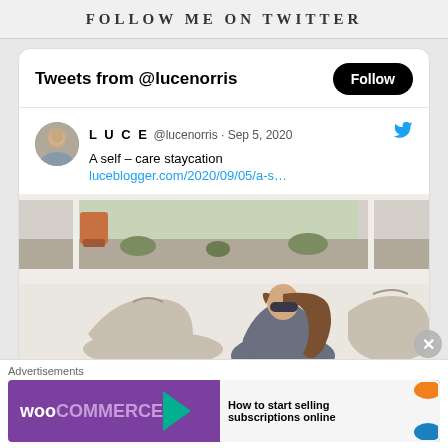FOLLOW ME ON TWITTER
Tweets from @lucenorris
L U C E @lucenorris · Sep 5, 2020
A self – care staycation
luceblogger.com/2020/09/05/a-s…
[Figure (photo): Woman in dark robe sitting on white ledge near window with beige bean bag chairs]
Advertisements
[Figure (screenshot): WooCommerce advertisement banner: How to start selling subscriptions online]